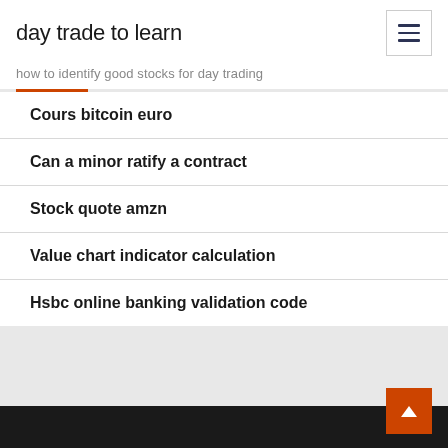day trade to learn
how to identify good stocks for day trading
Cours bitcoin euro
Can a minor ratify a contract
Stock quote amzn
Value chart indicator calculation
Hsbc online banking validation code